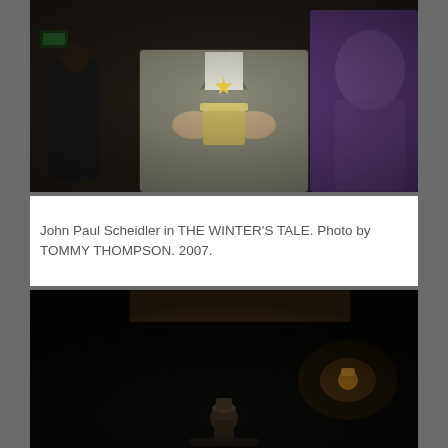[Figure (photo): A person in a grey plaid blazer holding a metallic cup with a star decoration on top. A purple garment is visible in the background. Indoor setting with warm, dim lighting and blurred background figures.]
John Paul Scheidler in THE WINTER'S TALE. Photo by TOMMY THOMPSON. 2007.
[Figure (photo): A dark theatrical stage scene. A wooden beam is visible at the top. A single figure stands in the lower center of the frame, lit by a warm overhead light on the right side. The scene is very dark with minimal lighting.]